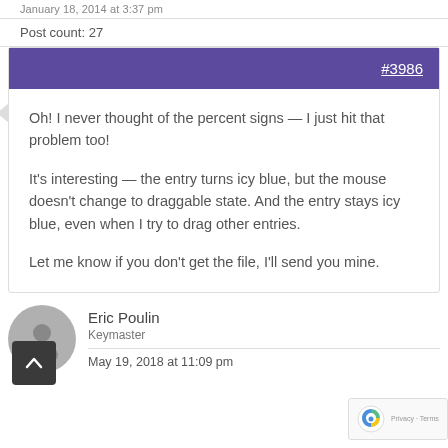January 18, 2014 at 3:37 pm
Post count: 27
#3986
Oh! I never thought of the percent signs — I just hit that problem too!

It's interesting — the entry turns icy blue, but the mouse doesn't change to draggable state. And the entry stays icy blue, even when I try to drag other entries.

Let me know if you don't get the file, I'll send you mine.
Eric Poulin
Keymaster
May 19, 2018 at 11:09 pm